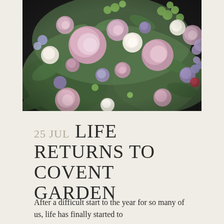[Figure (photo): Close-up photograph of a lush floral arrangement featuring pink peonies, roses, lavender flowers, white ranunculus, green buds, and assorted blooms in soft pinks, purples, and greens against a dark background.]
25 JUL LIFE RETURNS TO COVENT GARDEN
After a difficult start to the year for so many of us, life has finally started to